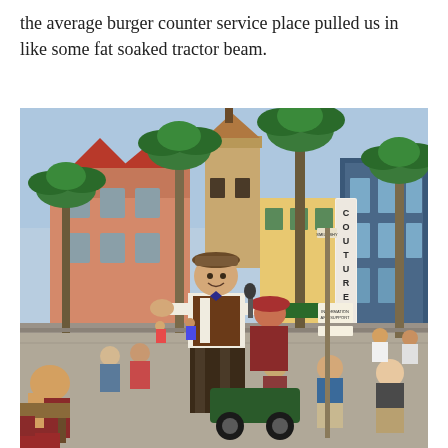the average burger counter service place pulled us in like some fat soaked tractor beam.
[Figure (photo): Outdoor street scene at a theme park (Disney's Hollywood Studios). A male performer dressed in period costume (brown vest, white shirt, plaid pants, flat cap) stands center-foreground smiling at the camera. Behind him is a busy boulevard lined with palm trees, themed buildings including a pink Spanish-style structure and a blue art-deco building with a vertical 'COUTURE' sign. Crowds of visitors line the street sitting and standing. Sunny day with blue sky.]